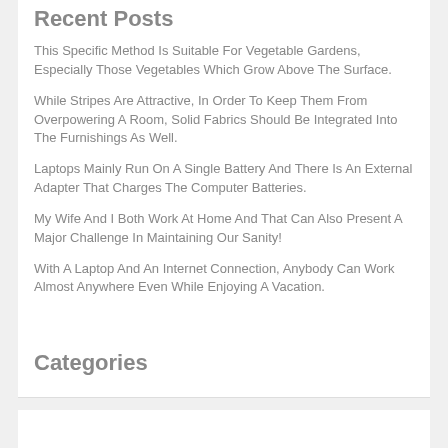Recent Posts
This Specific Method Is Suitable For Vegetable Gardens, Especially Those Vegetables Which Grow Above The Surface.
While Stripes Are Attractive, In Order To Keep Them From Overpowering A Room, Solid Fabrics Should Be Integrated Into The Furnishings As Well.
Laptops Mainly Run On A Single Battery And There Is An External Adapter That Charges The Computer Batteries.
My Wife And I Both Work At Home And That Can Also Present A Major Challenge In Maintaining Our Sanity!
With A Laptop And An Internet Connection, Anybody Can Work Almost Anywhere Even While Enjoying A Vacation.
Categories